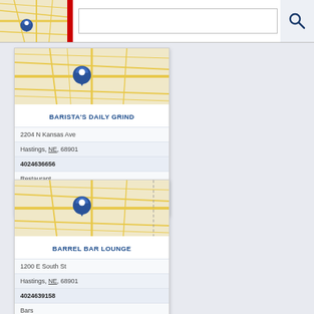[Figure (screenshot): Search bar UI with map thumbnail on left, red vertical bar, text input field, and search magnifier icon on right]
[Figure (map): Street map thumbnail showing road network with blue location pin marker for Barista's Daily Grind]
BARISTA'S DAILY GRIND
2204 N Kansas Ave
Hastings, NE, 68901
4024636656
Restaurant
Restaurants
Tea House
[Figure (map): Street map thumbnail showing road network with blue location pin marker for Barrel Bar Lounge]
BARREL BAR LOUNGE
1200 E South St
Hastings, NE, 68901
4024639158
Bars
Restaurant
Restaurants